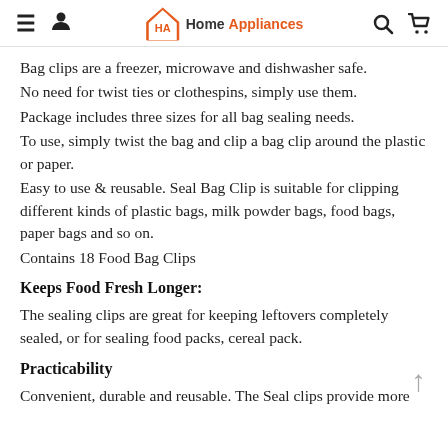Home Appliances
Bag clips are a freezer, microwave and dishwasher safe.
No need for twist ties or clothespins, simply use them.
Package includes three sizes for all bag sealing needs.
To use, simply twist the bag and clip a bag clip around the plastic or paper.
Easy to use & reusable. Seal Bag Clip is suitable for clipping different kinds of plastic bags, milk powder bags, food bags, paper bags and so on.
Contains 18 Food Bag Clips
Keeps Food Fresh Longer:
The sealing clips are great for keeping leftovers completely sealed, or for sealing food packs, cereal pack.
Practicability
Convenient, durable and reusable. The Seal clips provide more